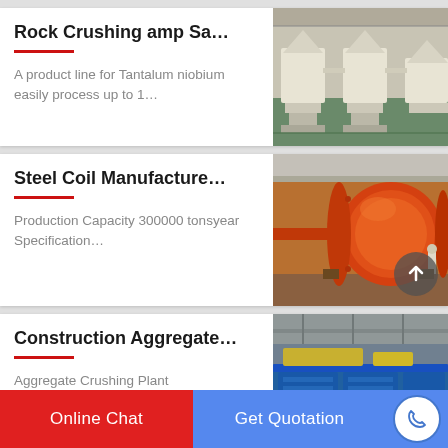Rock Crushing amp Sa…
A product line for Tantalum niobium easily process up to 1…
[Figure (photo): Industrial rock crushing machines in a factory, beige/cream colored equipment on green floor]
Steel Coil Manufacture…
Production Capacity 300000 tonsyear Specification…
[Figure (photo): Large orange cylindrical industrial mill/rotary drum in a factory with a person standing next to it for scale]
Construction Aggregate…
Aggregate Crushing Plant
[Figure (photo): Blue industrial aggregate crushing plant equipment in a warehouse]
Online Chat
Get Quotation